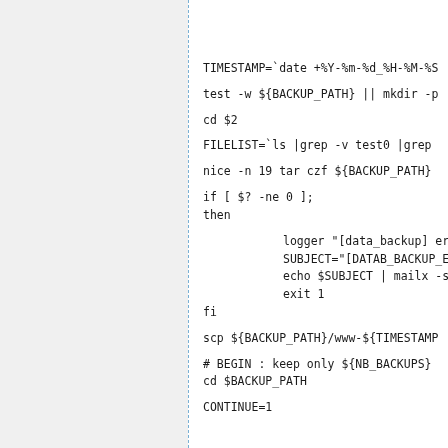TIMESTAMP=`date +%Y-%m-%d_%H-%M-%S`

test -w ${BACKUP_PATH} || mkdir -p

cd $2

FILELIST=`ls  |grep -v test0 |grep

nice -n 19  tar czf ${BACKUP_PATH}

if [ $? -ne 0 ];
then
        logger "[data_backup] erro
        SUBJECT="[DATAB_BACKUP_ERR
        echo $SUBJECT | mailx -s $
        exit 1
fi

scp ${BACKUP_PATH}/www-${TIMESTAMP

# BEGIN : keep only ${NB_BACKUPS}
cd $BACKUP_PATH

CONTINUE=1